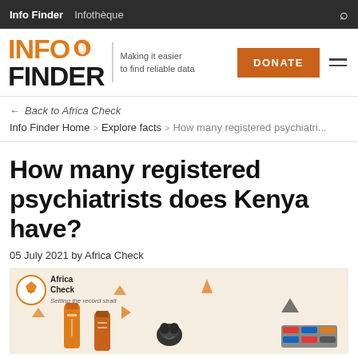Info Finder   Infothèque
[Figure (logo): Info Finder logo with orange INFO text, black FINDER text, Africa continent icon, tagline 'Making it easier to find reliable data', orange DONATE button, and hamburger menu]
← Back to Africa Check
Info Finder Home > Explore facts > How many registered psychiatri...
How many registered psychiatrists does Kenya have?
05 July 2021 by Africa Check
[Figure (infographic): Africa Check infographic with beige background showing medicine bottles, brain, pills, medical items and orange/dark triangle decorative elements]